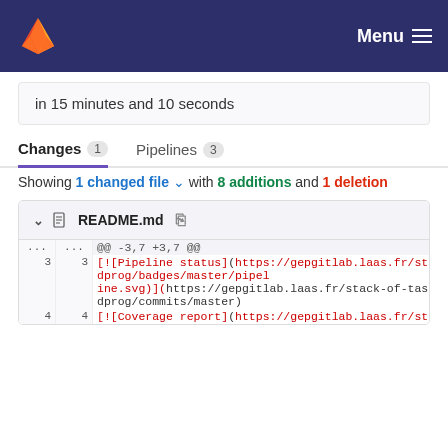GitLab header with logo and Menu button
in 15 minutes and 10 seconds
Changes 1   Pipelines 3
Showing 1 changed file with 8 additions and 1 deletion
README.md
@@ -3,7 +3,7 @@
3 3 [![Pipeline status](https://gepgitlab.laas.fr/stack-of-tasks/eiqua dprog/badges/master/pipeline.svg)](https://gepgitlab.laas.fr/stack-of-tasks/eiqua dprog/commits/master)
4 4 [![Coverage report](https://gepgitlab.laas.fr/stack-of-